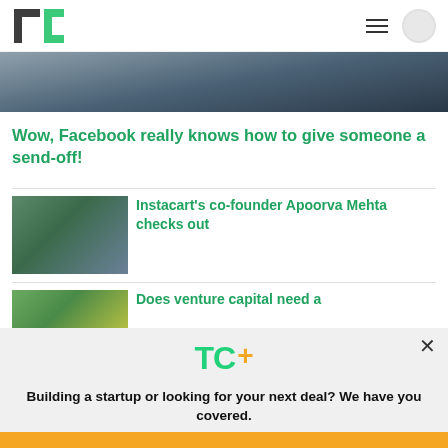TechCrunch
[Figure (photo): Cropped photo of people, partially visible at top]
Wow, Facebook really knows how to give someone a send-off!
[Figure (photo): Photo of Instacart co-founder Apoorva Mehta at a tech conference]
Instacart’s co-founder Apoorva Mehta checks out
[Figure (photo): Photo related to venture capital article]
Does venture capital need a
[Figure (logo): TC+ logo with green TC and orange plus sign]
Building a startup or looking for your next deal? We have you covered.
EXPLORE NOW